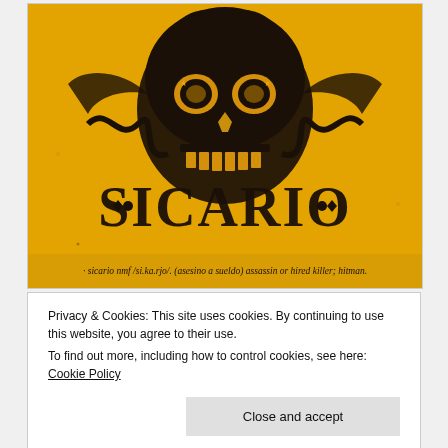[Figure (illustration): Movie poster for 'Sicario' featuring a decorated skull on a yellow/gold distressed background with ornate black illustrations and the large text 'SICARIO' at the bottom. Below the image: 'sicario  nmf /si.ka.rjo/. (asesino a sueldo) assassin or hired killer; hitman.']
Privacy & Cookies: This site uses cookies. By continuing to use this website, you agree to their use.
To find out more, including how to control cookies, see here: Cookie Policy
Close and accept